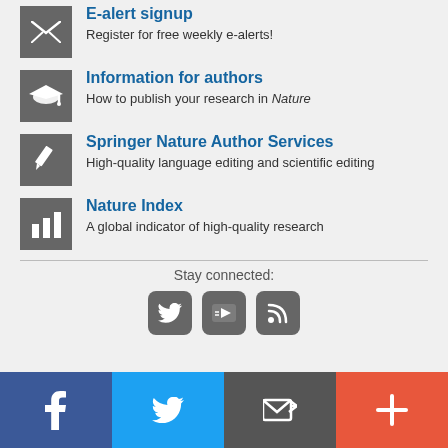E-alert signup — Register for free weekly e-alerts!
Information for authors — How to publish your research in Nature
Springer Nature Author Services — High-quality language editing and scientific editing
Nature Index — A global indicator of high-quality research
Stay connected:
[Figure (infographic): Social media icons: Twitter, YouTube, RSS feed icons in rounded square buttons. Bottom bar with Facebook, Twitter, email/share, and plus buttons.]